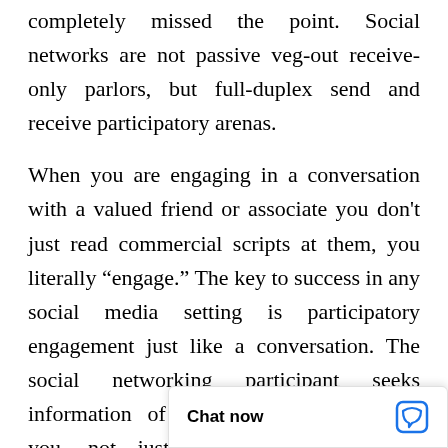completely missed the point. Social networks are not passive veg-out receive-only parlors, but full-duplex send and receive participatory arenas.
When you are engaging in a conversation with a valued friend or associate you don't just read commercial scripts at them, you literally “engage.” The key to success in any social media setting is participatory engagement just like a conversation. The social networking participant seeks information of unquestioned value from you, not just your bland, discordant presence. Since your goal is to position your brand as the hub of a mushrooming conversation, you must begin by the establishment of your unassailab acknowledged expe
[Figure (screenshot): Chat now widget overlay in bottom-right corner with chat bubble icon]